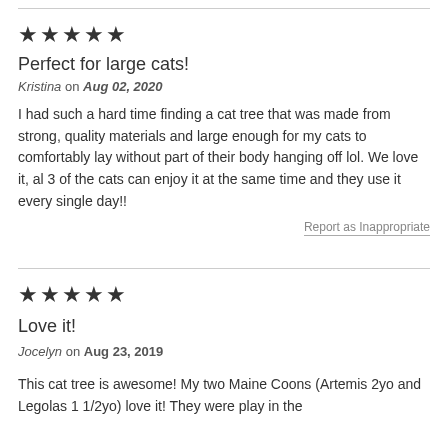[Figure (other): Five filled star rating icons]
Perfect for large cats!
Kristina on Aug 02, 2020
I had such a hard time finding a cat tree that was made from strong, quality materials and large enough for my cats to comfortably lay without part of their body hanging off lol. We love it, al 3 of the cats can enjoy it at the same time and they use it every single day!!
Report as Inappropriate
[Figure (other): Five filled star rating icons]
Love it!
Jocelyn on Aug 23, 2019
This cat tree is awesome! My two Maine Coons (Artemis 2yo and Legolas 1 1/2yo) love it! They were play in the